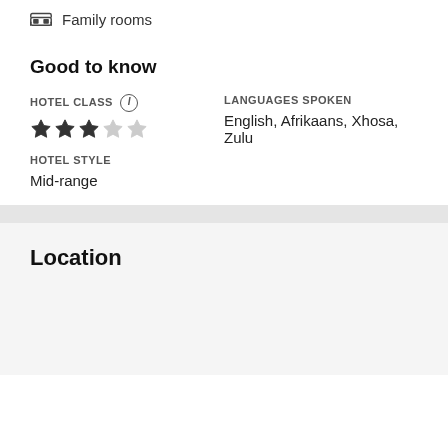Family rooms
Good to know
HOTEL CLASS
3 out of 5 stars
HOTEL STYLE
Mid-range
LANGUAGES SPOKEN
English, Afrikaans, Xhosa, Zulu
Location